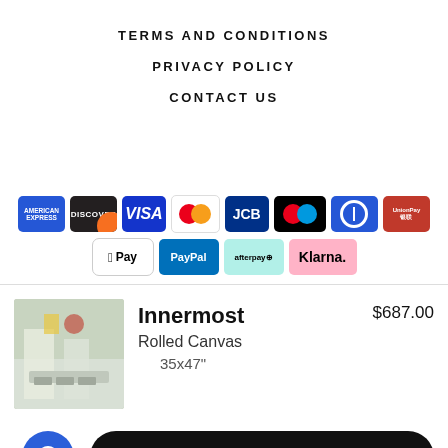TERMS AND CONDITIONS
PRIVACY POLICY
CONTACT US
[Figure (logo): Row of payment method logos: American Express, Discover, Visa, Mastercard, JCB, Mastercard (Maestro), Diners Club, UnionPay, Apple Pay, PayPal, Afterpay, Klarna]
Innermost
Rolled Canvas
35x47"
$687.00
ADD TO CART